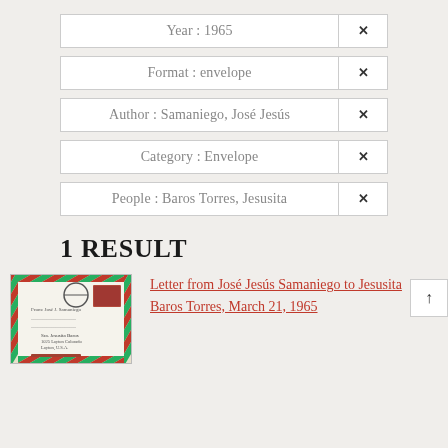Year : 1965 ×
Format : envelope ×
Author : Samaniego, José Jesús ×
Category : Envelope ×
People : Baros Torres, Jesusita ×
1 RESULT
[Figure (photo): Photograph of an envelope with red and green airmail border markings, a postage stamp, postmark, and handwritten address to Sra. Jesusita Baros, 1025 Layton Colorado, Layton, U.S.A.]
Letter from José Jesús Samaniego to Jesusita Baros Torres, March 21, 1965